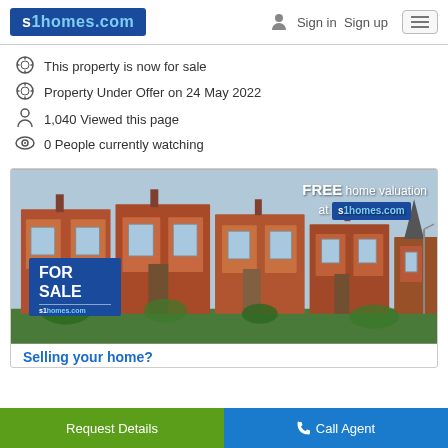s1homes.com  Sign in  Sign up
This property is now for sale
Property Under Offer on 24 May 2022
1,040 Viewed this page
0 People currently watching
[Figure (photo): Advertisement banner showing a row of red-brick terraced houses for sale, with a FOR SALE sign bearing s1homes.com and overlay text reading 'FREE home valuation at s1homes.com']
Selling your home?
Request Details
Call Agent